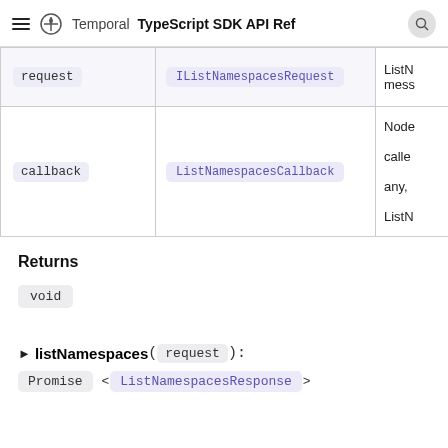Temporal TypeScript SDK API Reference
| Parameter | Type | Description |
| --- | --- | --- |
| request | IListNamespacesRequest | ListN... mess... |
| callback | ListNamespacesCallback | Node... calle... any, ListN... |
Returns
void
▶ listNamespaces(request): Promise<ListNamespacesResponse>